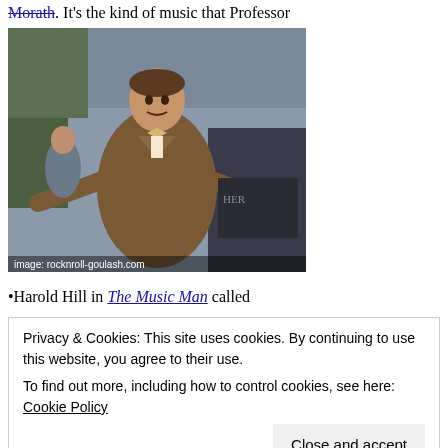Morath. It's the kind of music that Professor
[Figure (photo): A man in a brown tweed suit with a bow tie, arms outstretched in an expressive pose, standing in front of a stone monument. Image credit: rocknroll-goulash.com]
Harold Hill in The Music Man called
Privacy & Cookies: This site uses cookies. By continuing to use this website, you agree to their use. To find out more, including how to control cookies, see here: Cookie Policy
a century old, and we've all grown up with its